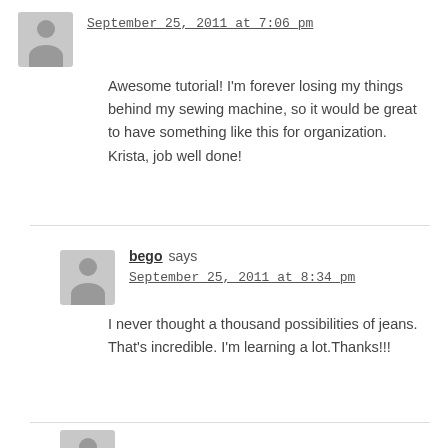September 25, 2011 at 7:06 pm
Awesome tutorial! I'm forever losing my things behind my sewing machine, so it would be great to have something like this for organization. Krista, job well done!
bego says
September 25, 2011 at 8:34 pm
I never thought a thousand possibilities of jeans. That's incredible. I'm learning a lot.Thanks!!!